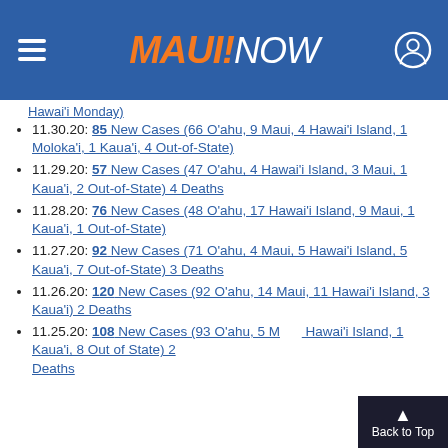MAUI NOW
11.30.20: 85 New Cases (66 O‘ahu, 9 Maui, 4 Hawai‘i Island, 1 Moloka‘i, 1 Kaua‘i, 4 Out-of-State)
11.29.20: 57 New Cases (47 O‘ahu, 4 Hawai‘i Island, 3 Maui, 1 Kaua‘i, 2 Out-of-State) 4 Deaths
11.28.20: 76 New Cases (48 O‘ahu, 17 Hawai‘i Island, 9 Maui, 1 Kaua‘i, 1 Out-of-State)
11.27.20: 92 New Cases (71 O‘ahu, 4 Maui, 5 Hawai‘i Island, 5 Kaua‘i, 7 Out-of-State) 3 Deaths
11.26.20: 120 New Cases (92 O‘ahu, 14 Maui, 11 Hawai‘i Island, 3 Kaua‘i) 2 Deaths
11.25.20: 108 New Cases (93 O‘ahu, 5 Maui, Hawai‘i Island, 1 Kaua‘i, 8 Out of State) 2 Deaths